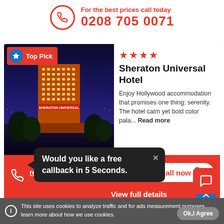For the best prices call today
0208 705 0071
[Figure (infographic): Hotel listing card showing Sheraton Universal Hotel with Top Pick badge, 4-star rating, hotel night photo, description text, Enquire via Email link, Call now button, and View full details link]
Enquire via Email
Call now
View full details
Would you like a free callback in 5 Seconds.
This site uses cookies to analyze traffic and for ads measurement purposes.
learn more about how we use cookies.
Ok,I Agree